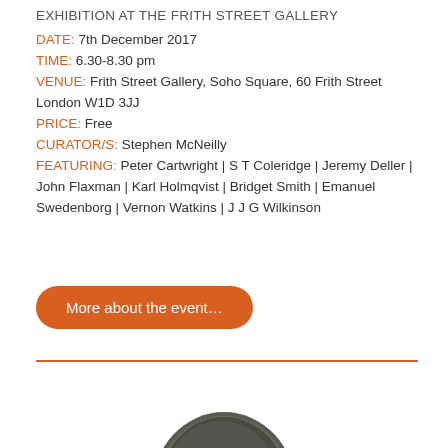EXHIBITION AT THE FRITH STREET GALLERY
DATE: 7th December 2017
TIME: 6.30-8.30 pm
VENUE: Frith Street Gallery, Soho Square, 60 Frith Street London W1D 3JJ
PRICE: Free
CURATOR/S: Stephen McNeilly
FEATURING: Peter Cartwright | S T Coleridge | Jeremy Deller | John Flaxman | Karl Holmqvist | Bridget Smith | Emanuel Swedenborg | Vernon Watkins | J J G Wilkinson
More about the event…
[Figure (photo): Partial view of a person's head, dark tones, cropped at bottom of page]